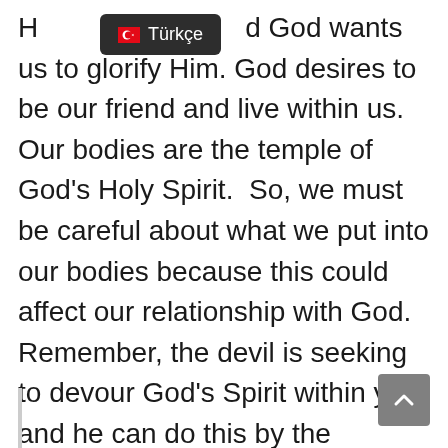H... d God wants us to glorify Him. God desires to be our friend and live within us.  Our bodies are the temple of God's Holy Spirit.  So, we must be careful about what we put into our bodies because this could affect our relationship with God.  Remember, the devil is seeking to devour God's Spirit within you, and he can do this by the influence of dangerous friends.  I want to share with you the following quote.